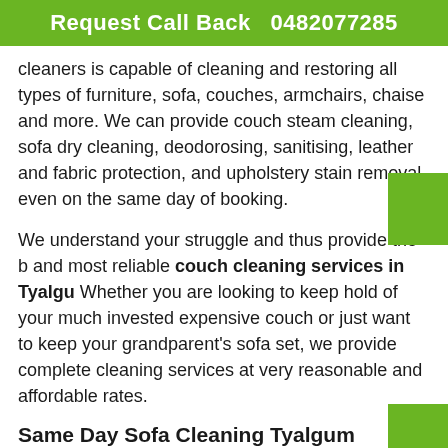Request Call Back   0482077285
cleaners is capable of cleaning and restoring all types of furniture, sofa, couches, armchairs, chaise and more. We can provide couch steam cleaning, sofa dry cleaning, deodorosing, sanitising, leather and fabric protection, and upholstery stain removal even on the same day of booking.
We understand your struggle and thus provide the best and most reliable couch cleaning services in Tyalgum. Whether you are looking to keep hold of your much invested expensive couch or just want to keep your grandparent's sofa set, we provide complete cleaning services at very reasonable and affordable rates.
Same Day Sofa Cleaning Tyalgum
Need same day couch cleaning Tyalgum? Are you looking for a reliable and trustworthy platform where you could just hand-over your expensive and exquisite leather and